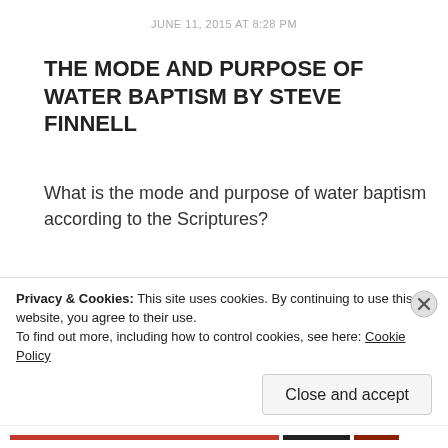JUNE 11, 2015 AT 8:28 PM
THE MODE AND PURPOSE OF WATER BAPTISM BY STEVE FINNELL
What is the mode and purpose of water baptism according to the Scriptures?
What is the mode and purpose of baptism according to denominational tradition?
First of all it needs to be established that the
Privacy & Cookies: This site uses cookies. By continuing to use this website, you agree to their use.
To find out more, including how to control cookies, see here: Cookie Policy
Close and accept